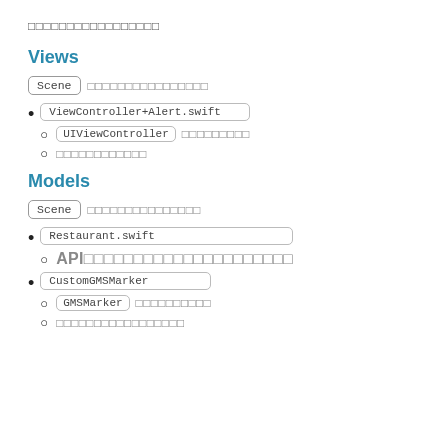□□□□□□□□□□□□□□□□□
Views
Scene □□□□□□□□□□□□□□□□
ViewController+Alert.swift
UIViewController □□□□□□□□□
□□□□□□□□□□□□
Models
Scene □□□□□□□□□□□□□□□
Restaurant.swift
API□□□□□□□□□□□□□□□□□□□□□
CustomGMSMarker
GMSMarker □□□□□□□□□□
□□□□□□□□□□□□□□□□□